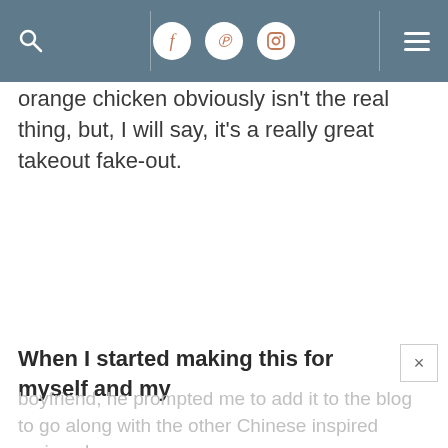[Navigation bar with search icon, Facebook, Pinterest, Instagram icons, and hamburger menu]
orange chicken obviously isn't the real thing, but, I will say, it's a really great takeout fake-out.
[Figure (photo): Large blank/white image area in the center of the page]
When I started making this for myself and my boyfriend, he prompted me to add it to the blog to go along with the other Chinese inspired recipes I